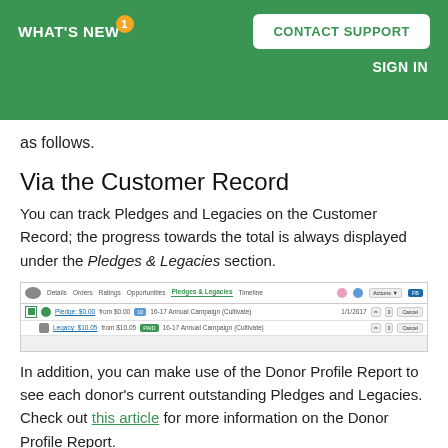WHAT'S NEW  CONTACT SUPPORT  SIGN IN
as follows.
Via the Customer Record
You can track Pledges and Legacies on the Customer Record; the progress towards the total is always displayed under the Pledges & Legacies section.
[Figure (screenshot): Screenshot of a customer record interface showing tabs including Details, Orders, Ratings, Opportunities, Pledges & Legacies, Timeline. Two rows are shown: a Pledge for $0.00 from $0.00 for 16-17 Annual Campaign (Cultivate) dated 1/1/2017, and a Legacy for $10.05 from $10.05 for 16-17 Annual Campaign (Cultivate).]
In addition, you can make use of the Donor Profile Report to see each donor's current outstanding Pledges and Legacies. Check out this article for more information on the Donor Profile Report.
Lastly, you can filter the Timeline in a Customer Record to display only Pledges and Legacies, which